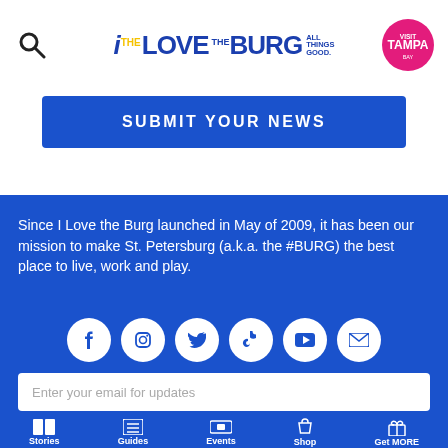iLOVE THE BURG ALL THINGS GOOD.
SUBMIT YOUR NEWS
Since I Love the Burg launched in May of 2009, it has been our mission to make St. Petersburg (a.k.a. the #BURG) the best place to live, work and play.
[Figure (infographic): Six social media icons in white circles on blue background: Facebook, Instagram, Twitter, TikTok, YouTube, Email]
Enter your email for updates
Stories  Guides  Events  Shop  Get MORE